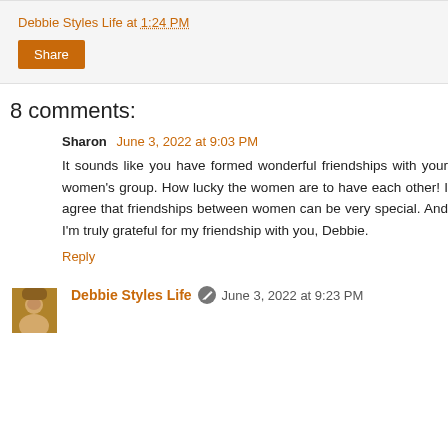Debbie Styles Life at 1:24 PM
Share
8 comments:
Sharon  June 3, 2022 at 9:03 PM
It sounds like you have formed wonderful friendships with your women's group. How lucky the women are to have each other! I agree that friendships between women can be very special. And I'm truly grateful for my friendship with you, Debbie.
Reply
Debbie Styles Life  June 3, 2022 at 9:23 PM